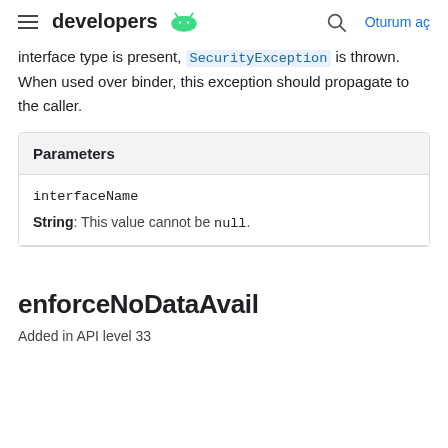developers [Android logo]   [Search]   Oturum aç
interface type is present, SecurityException is thrown. When used over binder, this exception should propagate to the caller.
| Parameters |
| --- |
| interfaceName |
| String: This value cannot be null. |
enforceNoDataAvail
Added in API level 33